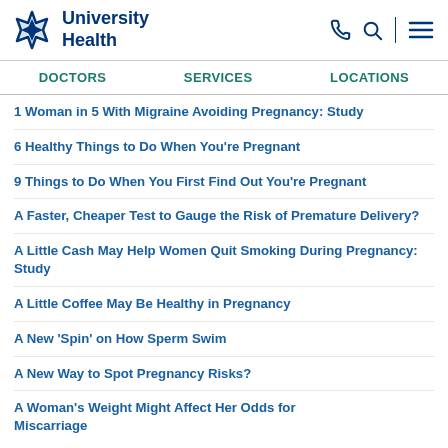University Health
1 Woman in 5 With Migraine Avoiding Pregnancy: Study
6 Healthy Things to Do When You're Pregnant
9 Things to Do When You First Find Out You're Pregnant
A Faster, Cheaper Test to Gauge the Risk of Premature Delivery?
A Little Cash May Help Women Quit Smoking During Pregnancy: Study
A Little Coffee May Be Healthy in Pregnancy
A New 'Spin' on How Sperm Swim
A New Way to Spot Pregnancy Risks?
A Woman's Weight Might Affect Her Odds for Miscarriage